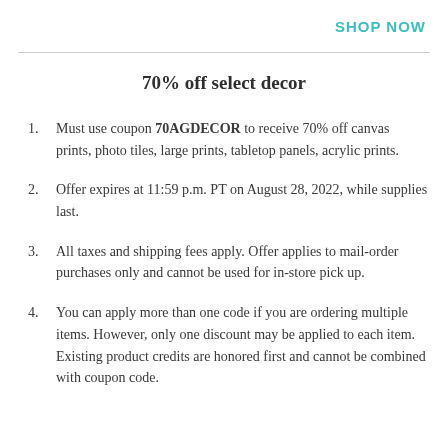SHOP NOW
70% off select decor
Must use coupon 70AGDECOR to receive 70% off canvas prints, photo tiles, large prints, tabletop panels, acrylic prints.
Offer expires at 11:59 p.m. PT on August 28, 2022, while supplies last.
All taxes and shipping fees apply. Offer applies to mail-order purchases only and cannot be used for in-store pick up.
You can apply more than one code if you are ordering multiple items. However, only one discount may be applied to each item. Existing product credits are honored first and cannot be combined with coupon code.